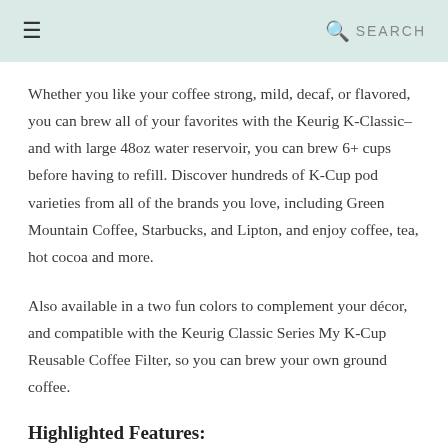≡   🔍 SEARCH
Whether you like your coffee strong, mild, decaf, or flavored, you can brew all of your favorites with the Keurig K-Classic– and with large 48oz water reservoir, you can brew 6+ cups before having to refill. Discover hundreds of K-Cup pod varieties from all of the brands you love, including Green Mountain Coffee, Starbucks, and Lipton, and enjoy coffee, tea, hot cocoa and more.
Also available in a two fun colors to complement your décor, and compatible with the Keurig Classic Series My K-Cup Reusable Coffee Filter, so you can brew your own ground coffee.
Highlighted Features: